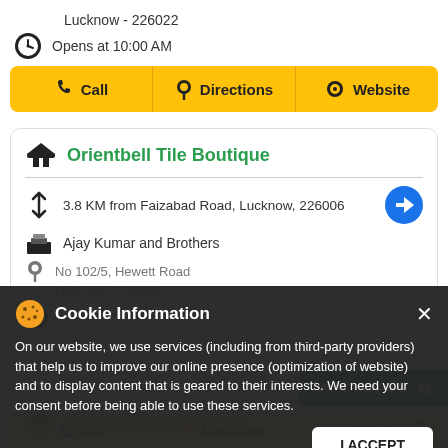Lucknow - 226022
Opens at 10:00 AM
Call   Directions   Website
Orientbell Tile Boutique
3.8 KM from Faizabad Road, Lucknow, 226006
Ajay Kumar and Brothers
No 102/5, Hewett Road
Lucknow - 226018
Opens at 10:30 AM
WHATSAPP US
Cookie Information
On our website, we use services (including from third-party providers) that help us to improve our online presence (optimization of website) and to display content that is geared to their interests. We need your consent before being able to use these services.
I ACCEPT
Orientbell Tile Boutique